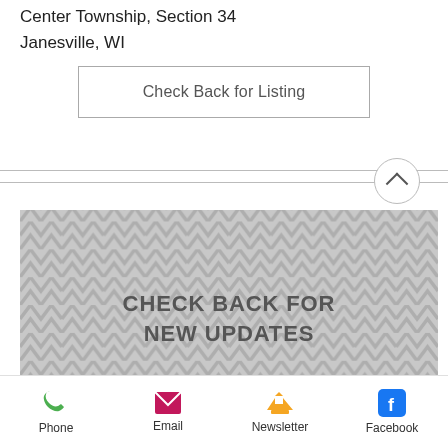Center Township, Section 34
Janesville, WI
Check Back for Listing
[Figure (other): Gray banner with chevron/herringbone pattern background and bold text reading CHECK BACK FOR NEW UPDATES]
Check Back for Date & More Details
Phone | Email | Newsletter | Facebook